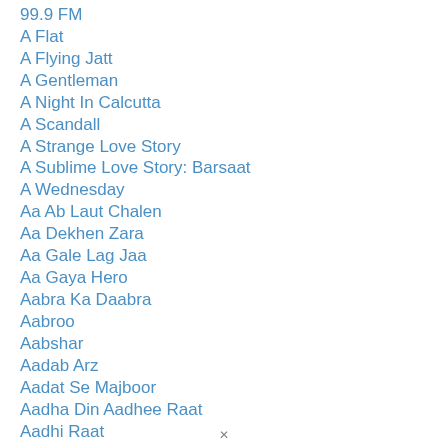99.9 FM
A Flat
A Flying Jatt
A Gentleman
A Night In Calcutta
A Scandall
A Strange Love Story
A Sublime Love Story: Barsaat
A Wednesday
Aa Ab Laut Chalen
Aa Dekhen Zara
Aa Gale Lag Jaa
Aa Gaya Hero
Aabra Ka Daabra
Aabroo
Aabshar
Aadab Arz
Aadat Se Majboor
Aadha Din Aadhee Raat
Aadhi Raat